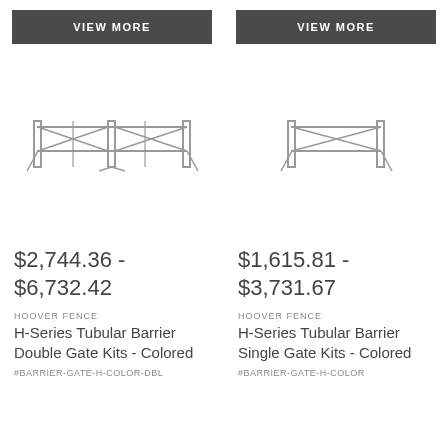[Figure (other): VIEW MORE button bar, dark gray background, white uppercase text]
[Figure (other): VIEW MORE button bar, dark gray background, white uppercase text]
[Figure (illustration): Line drawing of H-Series Tubular Barrier Double Gate - two panels with diagonal bracing]
[Figure (illustration): Line drawing of H-Series Tubular Barrier Single Gate - one panel with diagonal bracing]
$2,744.36 - $6,732.42
$1,615.81 - $3,731.67
HOOVER FENCE
HOOVER FENCE
H-Series Tubular Barrier Double Gate Kits - Colored
H-Series Tubular Barrier Single Gate Kits - Colored
#BARRIER-GATE-H-COLOR-DBL
#BARRIER-GATE-H-COLOR